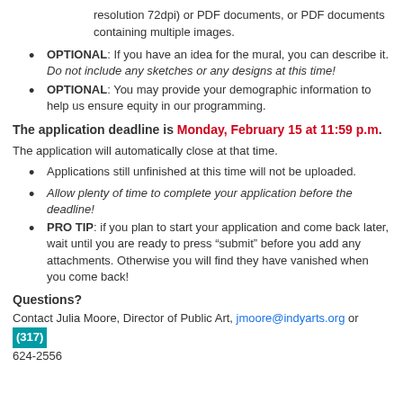resolution 72dpi) or PDF documents, or PDF documents containing multiple images.
OPTIONAL: If you have an idea for the mural, you can describe it. Do not include any sketches or any designs at this time!
OPTIONAL: You may provide your demographic information to help us ensure equity in our programming.
The application deadline is Monday, February 15 at 11:59 p.m.
The application will automatically close at that time.
Applications still unfinished at this time will not be uploaded.
Allow plenty of time to complete your application before the deadline!
PRO TIP: if you plan to start your application and come back later, wait until you are ready to press “submit” before you add any attachments. Otherwise you will find they have vanished when you come back!
Questions?
Contact Julia Moore, Director of Public Art, jmoore@indyarts.org or (317) 624-2556